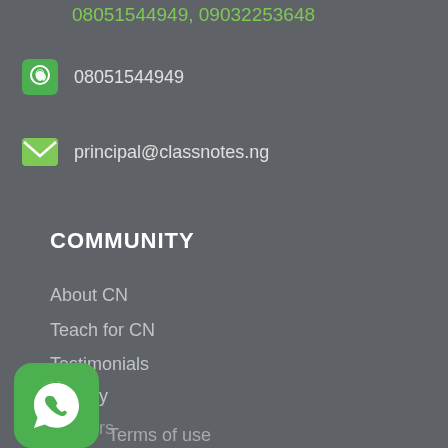08051544949, 09032253648
08051544949
principal@classnotes.ng
COMMUNITY
About CN
Teach for CN
Testimonials
Faculty
Careers
Blog
Affiliate
[Figure (logo): WhatsApp floating action button icon with green background and white phone handset in speech bubble]
Terms of use